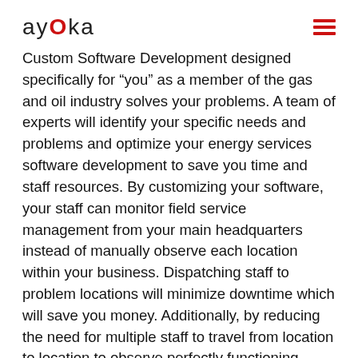ayOka
Custom Software Development designed specifically for “you” as a member of the gas and oil industry solves your problems. A team of experts will identify your specific needs and problems and optimize your energy services software development to save you time and staff resources. By customizing your software, your staff can monitor field service management from your main headquarters instead of manually observe each location within your business. Dispatching staff to problem locations will minimize downtime which will save you money. Additionally, by reducing the need for multiple staff to travel from location to location to observe perfectly functioning wellheads, your staff can use their time for other needed services in increased productivity.